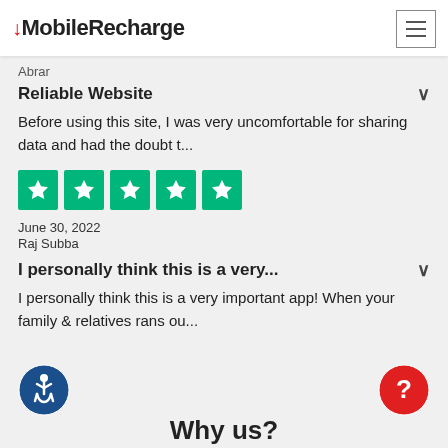MobileRecharge
Abrar
Reliable Website
Before using this site, I was very uncomfortable for sharing data and had the doubt t...
[Figure (other): Five green Trustpilot star rating boxes]
June 30, 2022
Raj Subba
I personally think this is a very...
I personally think this is a very important app! When your family & relatives rans ou...
[Figure (other): Accessibility icon - blue circle with wheelchair user symbol]
[Figure (other): Help/question mark icon - red circle with question mark]
Why us?